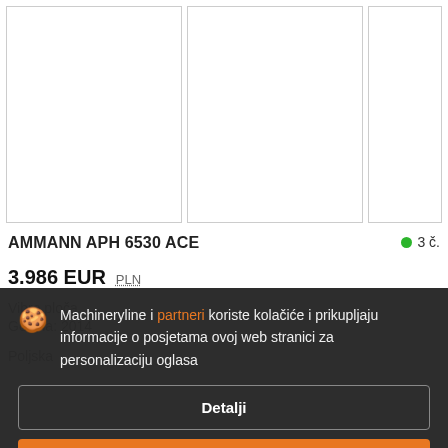[Figure (photo): Three product image placeholder boxes (white rectangles with borders) showing machinery listing photos, partially visible]
AMMANN APH 6530 ACE
● 3 č.
3.986 EUR  PLN
Vibro ploča
Godina: 2014
Machineryline i partneri koriste kolačiće i prikupljaju informacije o posjetama ovoj web stranici za personalizaciju oglasa
Detalji
Slažem se i zatvori